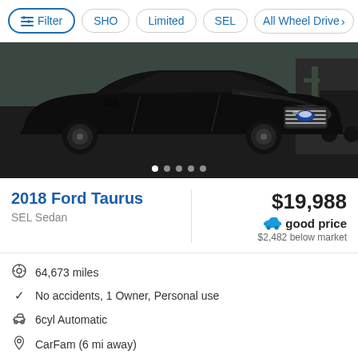Filter  SHO  Limited  SEL  All Wheel Drive >
[Figure (photo): Black 2018 Ford Taurus sedan, front 3/4 view, parked outdoors with cactus visible in background. Image carousel with 5 dots indicator at bottom.]
2018 Ford Taurus
SEL Sedan
$19,988
good price
$2,482 below market
64,673 miles
No accidents, 1 Owner, Personal use
6cyl Automatic
CarFam (6 mi away)
Back-up camera   Bluetooth   Power Driver Seat